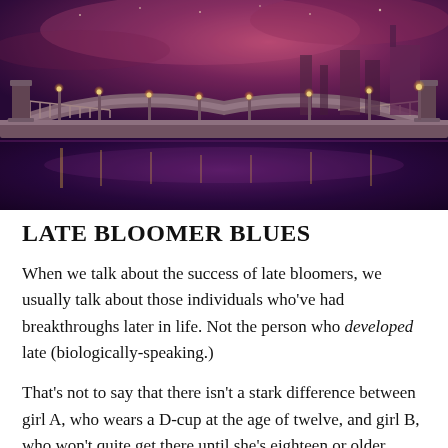[Figure (photo): Night photograph of an ornate Parisian bridge (Pont Alexandre III style) over the Seine river, lit with golden lamp posts against a dramatic purple/magenta twilight sky. Reflections shimmer on the water below.]
LATE BLOOMER BLUES
When we talk about the success of late bloomers, we usually talk about those individuals who've had breakthroughs later in life. Not the person who developed late (biologically-speaking.)
That's not to say that there isn't a stark difference between girl A, who wears a D-cup at the age of twelve, and girl B, who won't quite get there until she's eighteen or older.